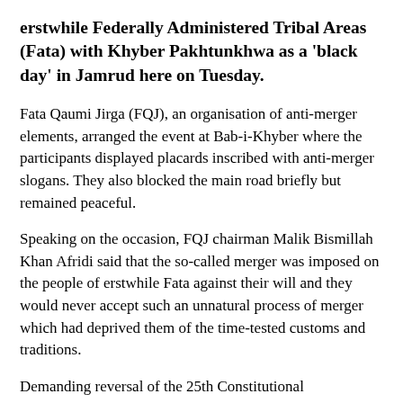erstwhile Federally Administered Tribal Areas (Fata) with Khyber Pakhtunkhwa as a 'black day' in Jamrud here on Tuesday.
Fata Qaumi Jirga (FQJ), an organisation of anti-merger elements, arranged the event at Bab-i-Khyber where the participants displayed placards inscribed with anti-merger slogans. They also blocked the main road briefly but remained peaceful.
Speaking on the occasion, FQJ chairman Malik Bismillah Khan Afridi said that the so-called merger was imposed on the people of erstwhile Fata against their will and they would never accept such an unnatural process of merger which had deprived them of the time-tested customs and traditions.
Demanding reversal of the 25th Constitutional Amendment, he also called for revival and strengthening of the traditional tribal jirga system and said the so-called merger had not provided any